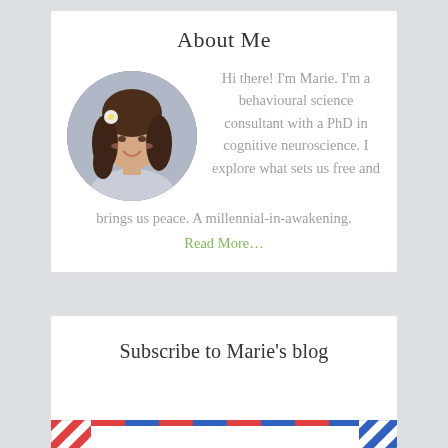About Me
[Figure (photo): Circular portrait photo of a young woman with brown hair and a white flower hair accessory, smiling.]
Hi there! I'm Marie. I'm a behavioural science consultant with a PhD in cognitive neuroscience. I explore what sets us free and brings us peace. A millennial-in-awakening.
Read More…
Subscribe to Marie's blog
[Figure (illustration): Partial view of an airmail envelope with red and blue diagonal border stripes.]